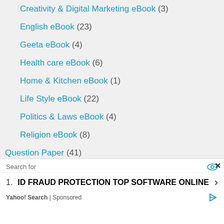Creativity & Digital Marketing eBook (3)
English eBook (23)
Geeta eBook (4)
Health care eBook (6)
Home & Kitchen eBook (1)
Life Style eBook (22)
Politics & Laws eBook (4)
Religion eBook (8)
Question Paper (41)
HSLC (34)
Search for
1. ID FRAUD PROTECTION TOP SOFTWARE ONLINE
Yahoo! Search | Sponsored